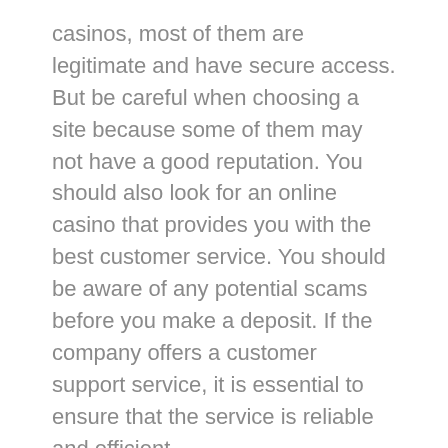casinos, most of them are legitimate and have secure access. But be careful when choosing a site because some of them may not have a good reputation. You should also look for an online casino that provides you with the best customer service. You should be aware of any potential scams before you make a deposit. If the company offers a customer support service, it is essential to ensure that the service is reliable and efficient.
Another way to make a deposit is to use your credit card. This is a fast and secure way to transfer money. In addition, online casinos may also offer rewards based on the amount of money you deposit. If you deposit a large amount of money into your account, you will be given a percentage of it back as a reload bonus. This type of reload bonus is a great way to keep playing, as online casinos do